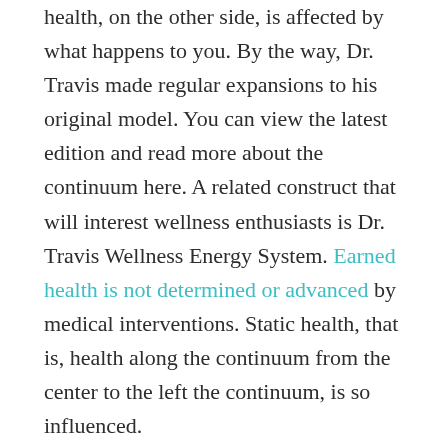health, on the other side, is affected by what happens to you. By the way, Dr. Travis made regular expansions to his original model. You can view the latest edition and read more about the continuum here. A related construct that will interest wellness enthusiasts is Dr. Travis Wellness Energy System. Earned health is not determined or advanced by medical interventions. Static health, that is, health along the continuum from the center to the left the continuum, is so influenced.